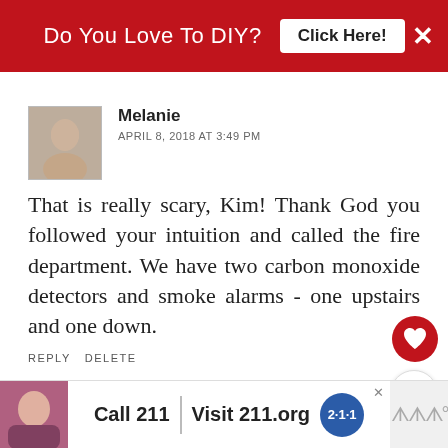[Figure (screenshot): Red banner advertisement: 'Do You Love To DIY? Click Here!' with white X close button]
Melanie
APRIL 8, 2018 AT 3:49 PM
That is really scary, Kim! Thank God you followed your intuition and called the fire department. We have two carbon monoxide detectors and smoke alarms - one upstairs and one down.
REPLY DELETE
WHAT'S NEXT → My Thrift Store Stinks
▼ REPLIES
[Figure (screenshot): Bottom advertisement: Call 211 | Visit 211.org with 2-1-1 logo badge]